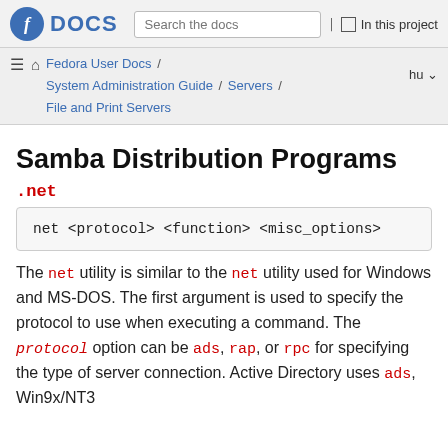Fedora DOCS | Search the docs | In this project
Fedora User Docs / System Administration Guide / Servers / File and Print Servers | hu
Samba Distribution Programs
.net
net <protocol> <function> <misc_options>
The net utility is similar to the net utility used for Windows and MS-DOS. The first argument is used to specify the protocol to use when executing a command. The protocol option can be ads, rap, or rpc for specifying the type of server connection. Active Directory uses ads, Win9x/NT3